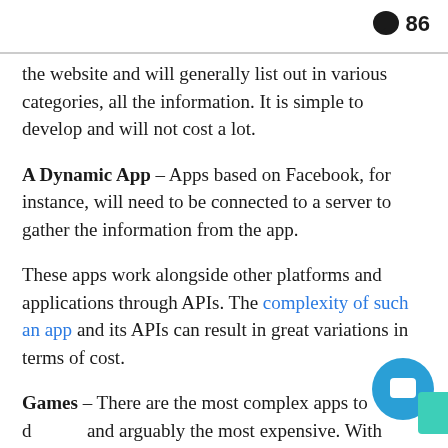86
the website and will generally list out in various categories, all the information. It is simple to develop and will not cost a lot.
A Dynamic App – Apps based on Facebook, for instance, will need to be connected to a server to gather the information from the app.
These apps work alongside other platforms and applications through APIs. The complexity of such an app and its APIs can result in great variations in terms of cost.
Games – There are the most complex apps to d... and arguably the most expensive. With complex... games using Artificial Intelligence gaining heavy...